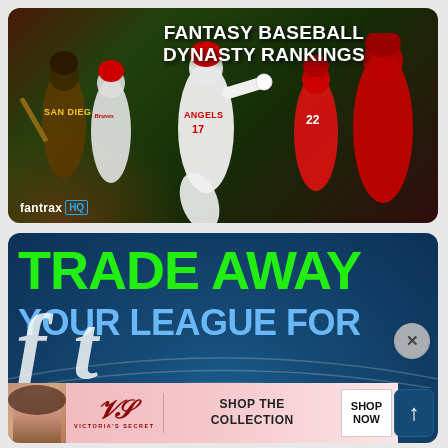[Figure (photo): Fantasy Baseball Dynasty Rankings promotional image from Fantrax HQ showing multiple baseball players including one in Angels #17 jersey pitching, players in San Diego and Braves uniforms, and players in red uniforms including #22, against a dark green/brown stadium background]
FANTASY BASEBALL DYNASTY RANKINGS
[Figure (infographic): Sports betting/fantasy sports advertisement with blue stadium background showing text 'TRADE AWAY YOUR LEAGUE FOR' in large green and light blue text with partial large white cursive letters at bottom, with a Victoria's Secret ad overlay at the bottom showing model photo, VS logo, 'SHOP THE COLLECTION' text and 'SHOP NOW' button]